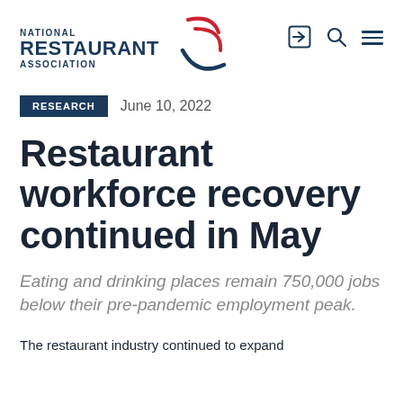NATIONAL RESTAURANT ASSOCIATION
RESEARCH   June 10, 2022
Restaurant workforce recovery continued in May
Eating and drinking places remain 750,000 jobs below their pre-pandemic employment peak.
The restaurant industry continued to expand